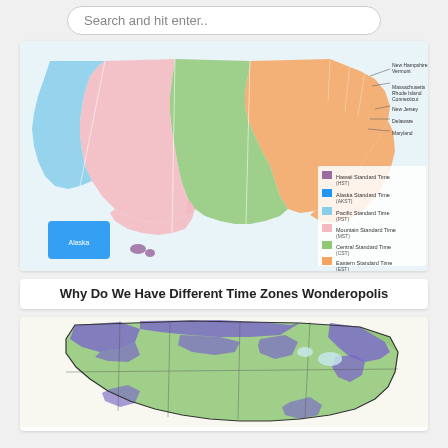Search and hit enter..
[Figure (map): US time zones map showing Hawaii-Aleutian, Alaska, Pacific, Mountain, Central, and Eastern Standard Time zones in different colors (purple, blue, light blue, pink, green, orange) with a legend on the right side.]
Why Do We Have Different Time Zones Wonderopolis
[Figure (map): US map showing a two-color (yellow-green and purple/blue) regional pattern, likely depicting plant hardiness zones or similar geographic distribution across the continental United States.]